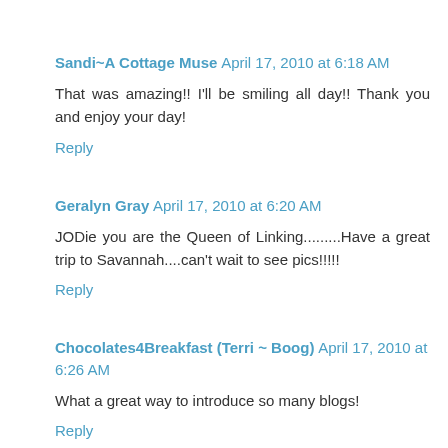Sandi~A Cottage Muse  April 17, 2010 at 6:18 AM
That was amazing!! I'll be smiling all day!! Thank you and enjoy your day!
Reply
Geralyn Gray  April 17, 2010 at 6:20 AM
JODie you are the Queen of Linking.........Have a great trip to Savannah....can't wait to see pics!!!!!
Reply
Chocolates4Breakfast (Terri ~ Boog)  April 17, 2010 at 6:26 AM
What a great way to introduce so many blogs!
Reply